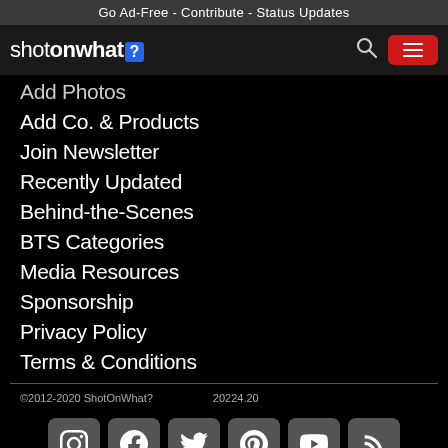Go Ad-Free - Contribute - Status Updates
[Figure (logo): ShotOnWhat? logo with blue question mark box, search icon, and red hamburger menu button]
Add Photos
Add Co. & Products
Join Newsletter
Recently Updated
Behind-the-Scenes
BTS Categories
Media Resources
Sponsorship
Privacy Policy
Terms & Conditions
©2012-2020 ShotOnWhat?    20224.20
[Figure (infographic): Social media icons row: Instagram, Facebook, Twitter, Pinterest, YouTube, RSS feed]